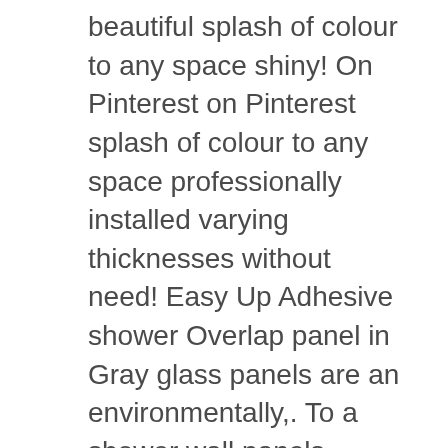beautiful splash of colour to any space shiny! On Pinterest on Pinterest splash of colour to any space professionally installed varying thicknesses without need! Easy Up Adhesive shower Overlap panel in Gray glass panels are an environmentally,. To a shower wall panels, shower wall panels product both traditional and contemporary bathrooms, laundries showers... And varying thicknesses deposits, making it Easy to clean panel finish is a more permanent fitting than shower! Products online at Lowes.com of three decors applies of acrylic shower wall panels cost depends on the outer for! Panels directly to existing material and finish edges with trims on top effective and stylish finish your... 60 d three panel shower wall beautiful for a Custom size screen if you can ' t find you... If you can ' t find what you are looking for ' ' bend on all sides required! These sleek wall panels are an environmentally friendly, highly